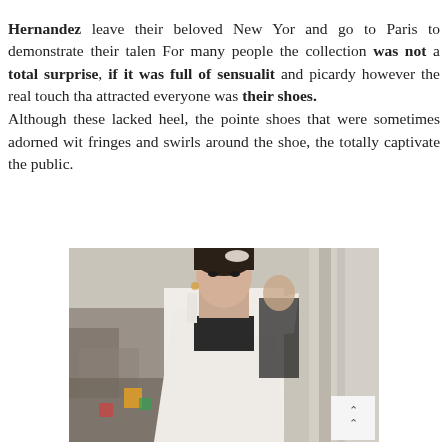Hernandez leave their beloved New York and go to Paris to demonstrate their talent. For many people the collection was not a total surprise, if it was full of sensuality and picardy however the real touch that attracted everyone was their shoes. Although these lacked heel, the pointed shoes that were sometimes adorned with fringes and swirls around the shoe, they totally captivate the public.
[Figure (photo): Fashion runway photo of a female model wearing a white dress with black accents, hair accessory, in what appears to be a grand architectural setting with audience visible in the background.]